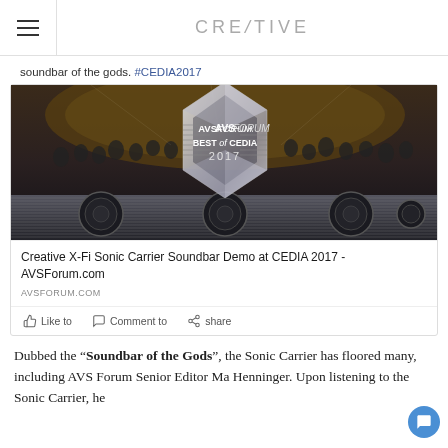CREATIVE
soundbar of the gods. #CEDIA2017
[Figure (photo): Photo of an AVSForum Best of CEDIA 2017 award trophy (crystal/glass hexagonal shape) in front of a concert hall with an orchestra, placed in front of a Creative X-Fi Sonic Carrier soundbar. The trophy reads 'AVS FORUM BEST of CEDIA 2017'.]
Creative X-Fi Sonic Carrier Soundbar Demo at CEDIA 2017 - AVSForum.com
AVSFORUM.COM
Like to   Comment to   share
Dubbed the “Soundbar of the Gods”, the Sonic Carrier has floored many, including AVS Forum Senior Editor Ma Henninger. Upon listening to the Sonic Carrier, he